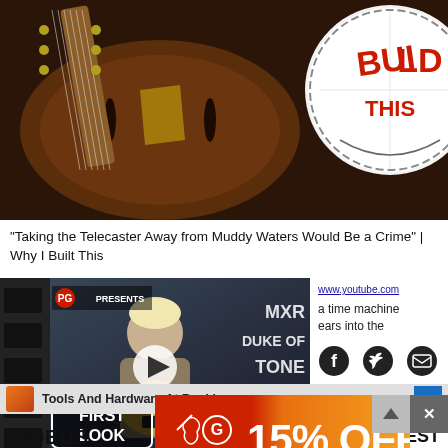[Figure (photo): Close-up of a hollow body electric guitar (dark wood, f-holes, gold hardware) on left, and a circular logo/badge with red text 'BUILD THIS' on right, against a brown background]
“Taking the Telecaster Away from Muddy Waters Would Be a Crime” | Why I Built This
[Figure (screenshot): YouTube video thumbnail showing a man with bleached hair holding a Les Paul guitar, with PG PRESENTS and MXR DUKE OF TONE / FIRST LOOK overlay text, and a play button in the center]
www.youtube.com
a time machine ears into the
[Figure (infographic): Advertisement banner: Tools And Hardware At Rockler with orange logo icon and blue arrow]
[Figure (logo): Guitar Center advertisement with logo and 15% OFF in large white text on red-to-orange gradient background]
VIDEOS
LATEST